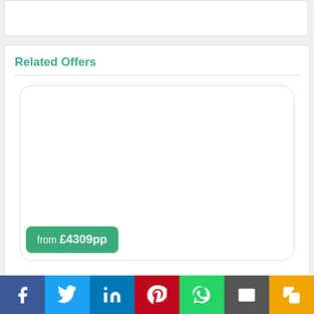21st August 2022 | 2 min read
Related Offers
[Figure (other): Offer card placeholder with white background and rounded corners]
from £4309pp
Social sharing bar: Facebook, Twitter, LinkedIn, Pinterest, WhatsApp, Email, Copy